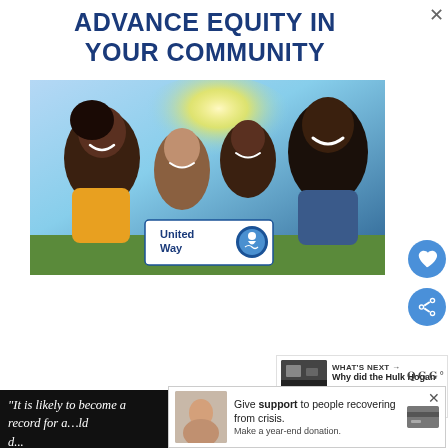ADVANCE EQUITY IN YOUR COMMUNITY
[Figure (photo): United Way advertisement showing a smiling family of four (mother, two children, father) outdoors with a United Way logo overlay]
[Figure (logo): United Way logo with circular emblem and text 'United Way']
WHAT'S NEXT → Why did the Hulk Hogan ...
"It is likely to become a record for a...ld (d...
Give support to people recovering from crisis. Make a year-end donation.